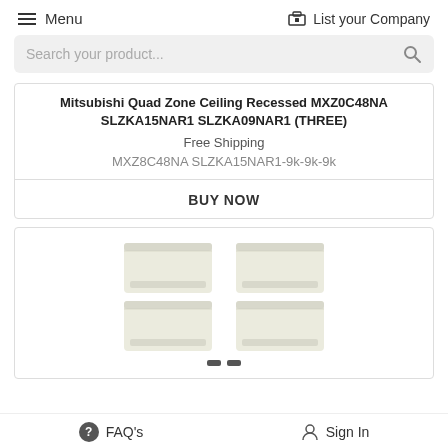Menu   List your Company
Search your product...
Mitsubishi Quad Zone Ceiling Recessed MXZ0C48NA SLZKA15NAR1 SLZKA09NAR1 (THREE)
Free Shipping
MXZ8C48NA SLZKA15NAR1-9k-9k-9k
BUY NOW
[Figure (photo): Four Mitsubishi ceiling recessed mini-split air conditioning units arranged in a 2x2 grid, shown from below/front view, in light beige/cream color]
FAQ's   Sign In